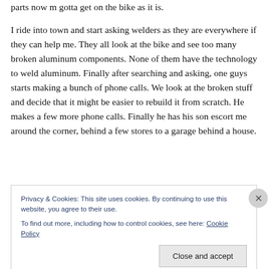parts now m gotta get on the bike as it is.
I ride into town and start asking welders as they are everywhere if they can help me. They all look at the bike and see too many broken aluminum components. None of them have the technology to weld aluminum. Finally after searching and asking, one guys starts making a bunch of phone calls. We look at the broken stuff and decide that it might be easier to rebuild it from scratch. He makes a few more phone calls. Finally he has his son escort me around the corner, behind a few stores to a garage behind a house.
Privacy & Cookies: This site uses cookies. By continuing to use this website, you agree to their use.
To find out more, including how to control cookies, see here: Cookie Policy
Close and accept